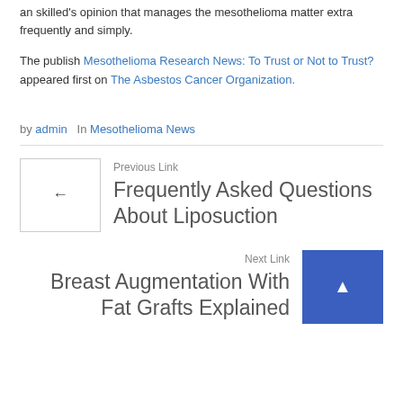an skilled's opinion that manages the mesothelioma matter extra frequently and simply.
The publish Mesothelioma Research News: To Trust or Not to Trust? appeared first on The Asbestos Cancer Organization.
by admin  In Mesothelioma News
Previous Link
Frequently Asked Questions About Liposuction
Next Link
Breast Augmentation With Fat Grafts Explained